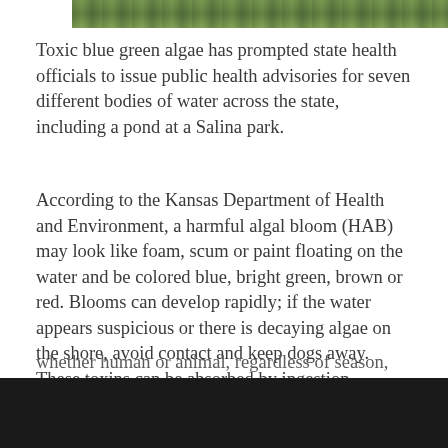[Figure (photo): Cropped top strip of an outdoor photograph showing green vegetation or algae near a body of water]
Toxic blue green algae has prompted state health officials to issue public health advisories for seven different bodies of water across the state, including a pond at a Salina park.
According to the Kansas Department of Health and Environment, a harmful algal bloom (HAB) may look like foam, scum or paint floating on the water and be colored blue, bright green, brown or red. Blooms can develop rapidly; if the water appears suspicious or there is decaying algae on the shore, avoid contact and keep dogs away. These toxins can be absorbed by ingestion, inhalation of aerosols and even skin contact. Symptoms vary depending upon the type of exposure (e.g. direct contact, ingestion, inhalation) but can include rash, vomiting, diarrhea, fever, sore throat, and headache. If you, or your dog, come into contact with algae rinse the area with clean, fresh water. Suspected HAB-related health incidents, whether human or animal, regardless of season, should be